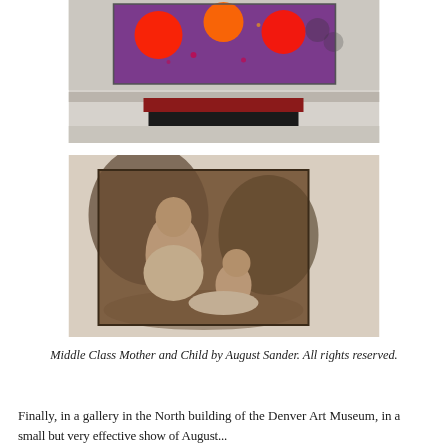[Figure (photo): Gallery photo of an abstract painting with red, orange circles on purple background, displayed on a museum wall above a dark pedestal with a red top surface.]
[Figure (photo): Sepia-toned vintage photograph of a woman (middle class mother) sitting outdoors with a baby, displayed as framed print on a light background.]
Middle Class Mother and Child by August Sander. All rights reserved.
Finally, in a gallery in the North building of the Denver Art Museum, i a small but very effective show of August...